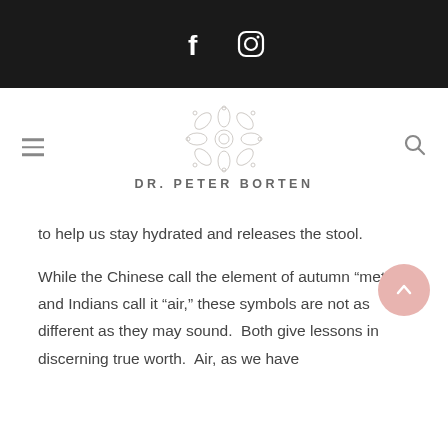Social media icons (Facebook, Instagram) on dark header bar
DR. PETER BORTEN
to help us stay hydrated and releases the stool.
While the Chinese call the element of autumn “metal” and Indians call it “air,” these symbols are not as different as they may sound.  Both give lessons in discerning true worth.  Air, as we have